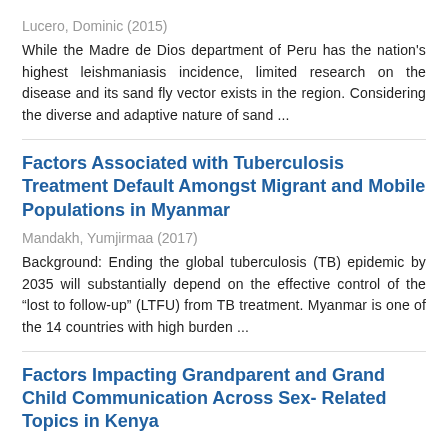Lucero, Dominic (2015)
While the Madre de Dios department of Peru has the nation's highest leishmaniasis incidence, limited research on the disease and its sand fly vector exists in the region. Considering the diverse and adaptive nature of sand ...
Factors Associated with Tuberculosis Treatment Default Amongst Migrant and Mobile Populations in Myanmar
Mandakh, Yumjirmaa (2017)
Background: Ending the global tuberculosis (TB) epidemic by 2035 will substantially depend on the effective control of the “lost to follow-up” (LTFU) from TB treatment. Myanmar is one of the 14 countries with high burden ...
Factors Impacting Grandparent and Grand Child Communication Across Sex- Related Topics in Kenya